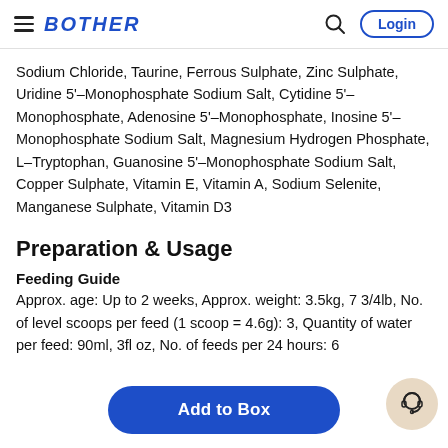BOTHER — Login
Sodium Chloride, Taurine, Ferrous Sulphate, Zinc Sulphate, Uridine 5'-Monophosphate Sodium Salt, Cytidine 5'-Monophosphate, Adenosine 5'-Monophosphate, Inosine 5'-Monophosphate Sodium Salt, Magnesium Hydrogen Phosphate, L-Tryptophan, Guanosine 5'-Monophosphate Sodium Salt, Copper Sulphate, Vitamin E, Vitamin A, Sodium Selenite, Manganese Sulphate, Vitamin D3
Preparation & Usage
Feeding Guide
Approx. age: Up to 2 weeks, Approx. weight: 3.5kg, 7 3/4lb, No. of level scoops per feed (1 scoop = 4.6g): 3, Quantity of water per feed: 90ml, 3fl oz, No. of feeds per 24 hours: 6
Add to Box